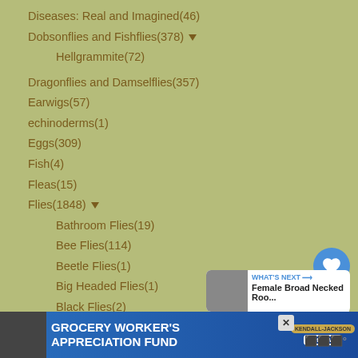Diseases: Real and Imagined(46)
Dobsonflies and Fishflies(378) ▼
Hellgrammite(72)
Dragonflies and Damselflies(357)
Earwigs(57)
echinoderms(1)
Eggs(309)
Fish(4)
Fleas(15)
Flies(1848) ▼
Bathroom Flies(19)
Bee Flies(114)
Beetle Flies(1)
Big Headed Flies(1)
Black Flies(2)
Black Scavenger Flies(2)
blow flies(14)
Bot Flies(49)